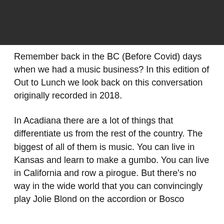[Figure (photo): Dark header image banner at top of page]
Remember back in the BC (Before Covid) days when we had a music business? In this edition of Out to Lunch we look back on this conversation originally recorded in 2018.
In Acadiana there are a lot of things that differentiate us from the rest of the country. The biggest of all of them is music. You can live in Kansas and learn to make a gumbo. You can live in California and row a pirogue. But there's no way in the wide world that you can convincingly play Jolie Blond on the accordion or Bosco